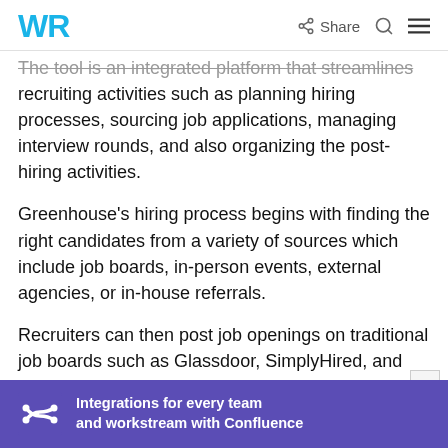WR   Share  [search] [menu]
The tool is an integrated platform that streamlines recruiting activities such as planning hiring processes, sourcing job applications, managing interview rounds, and also organizing the post-hiring activities.
Greenhouse's hiring process begins with finding the right candidates from a variety of sources which include job boards, in-person events, external agencies, or in-house referrals.
Recruiters can then post job openings on traditional job boards such as Glassdoor, SimplyHired, and Indeed.
They can also...
[Figure (infographic): Purple advertisement banner for Confluence showing Atlassian logo and text: Integrations for every team and workstream with Confluence]